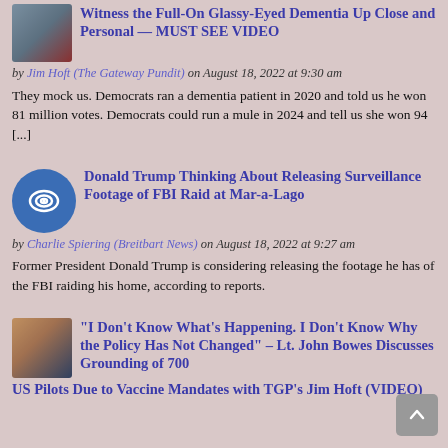Witness the Full-On Glassy-Eyed Dementia Up Close and Personal — MUST SEE VIDEO
by Jim Hoft (The Gateway Pundit) on August 18, 2022 at 9:30 am
They mock us. Democrats ran a dementia patient in 2020 and told us he won 81 million votes. Democrats could run a mule in 2024 and tell us she won 94 [...]
Donald Trump Thinking About Releasing Surveillance Footage of FBI Raid at Mar-a-Lago
by Charlie Spiering (Breitbart News) on August 18, 2022 at 9:27 am
Former President Donald Trump is considering releasing the footage he has of the FBI raiding his home, according to reports.
“I Don’t Know What’s Happening. I Don’t Know Why the Policy Has Not Changed” – Lt. John Bowes Discusses Grounding of 700 US Pilots Due to Vaccine Mandates with TGP’s Jim Hoft (VIDEO)